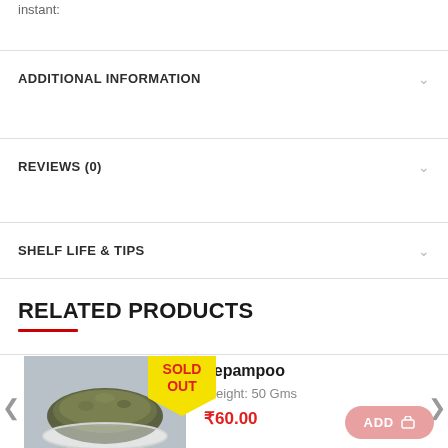instant:
ADDITIONAL INFORMATION
REVIEWS (0)
SHELF LIFE & TIPS
RELATED PRODUCTS
[Figure (photo): Product photo of Vepampoo (neem flowers) herb powder in a white bowl on gray background, with a yellow 'SOLD OUT' badge]
Vepampoo
Weight: 50 Gms
₹60.00